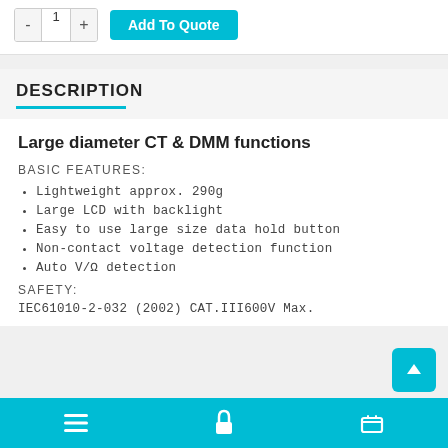[Figure (screenshot): Quantity selector with minus button, input field showing 1, plus button, and a teal 'Add To Quote' button]
DESCRIPTION
Large diameter CT & DMM functions
BASIC FEATURES:
Lightweight approx. 290g
Large LCD with backlight
Easy to use large size data hold button
Non-contact voltage detection function
Auto V/Ω detection
SAFETY:
IEC61010-2-032 (2002) CAT.III600V Max.
Navigation bar with menu, lock, and cart icons